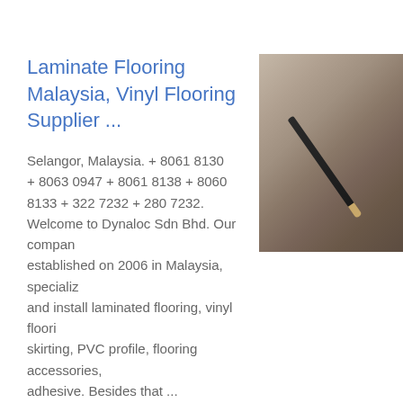Laminate Flooring Malaysia, Vinyl Flooring Supplier ...
[Figure (photo): Photo of laminate or vinyl flooring surface with a marker/pencil placed on it, partially cropped on the right side of the card.]
Selangor, Malaysia. + 8061 8130 + 8063 0947 + 8061 8138 + 8060 8133 + 322 7232 + 280 7232. Welcome to Dynaloc Sdn Bhd. Our company established on 2006 in Malaysia, specializ... and install laminated flooring, vinyl floori... skirting, PVC profile, flooring accessories, adhesive. Besides that ...
Get price